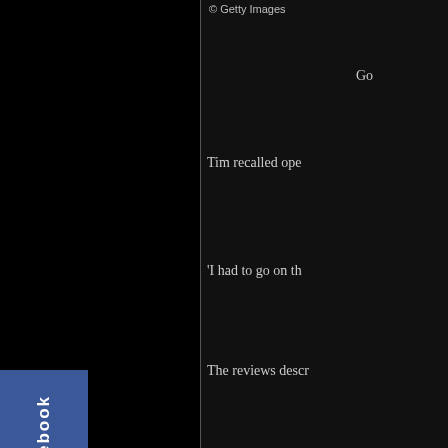[Figure (screenshot): Partial view of a webpage with black background. Left side is mostly black with a Facebook share button (blue, vertical text). Right side shows partial text content on dark background and a partial photo of a person with arms raised against a dark green background.]
© Getty Images
Go
Tim recalled ope
'I had to go on th
The reviews descr